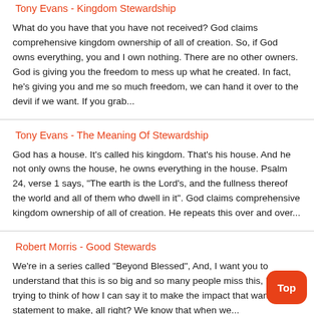Tony Evans - Kingdom Stewardship
What do you have that you have not received? God claims comprehensive kingdom ownership of all of creation. So, if God owns everything, you and I own nothing. There are no other owners. God is giving you the freedom to mess up what he created. In fact, he's giving you and me so much freedom, we can hand it over to the devil if we want. If you grab...
Tony Evans - The Meaning Of Stewardship
God has a house. It's called his kingdom. That's his house. And he not only owns the house, he owns everything in the house. Psalm 24, verse 1 says, "The earth is the Lord's, and the fullness thereof the world and all of them who dwell in it". God claims comprehensive kingdom ownership of all of creation. He repeats this over and over...
Robert Morris - Good Stewards
We're in a series called "Beyond Blessed", And, I want you to understand that this is so big and so many people miss this, I'm trying to think of how I can say it to make the impact that want this statement to make, all right? We know that when we...